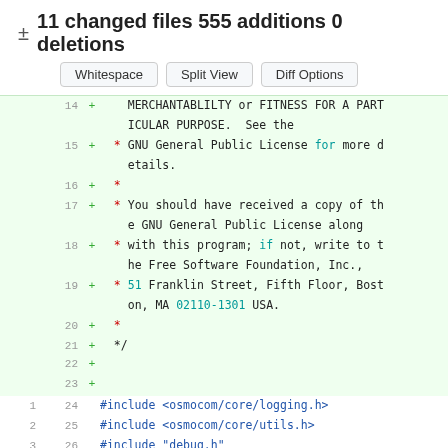± 11 changed files 555 additions 0 deletions
Whitespace  Split View  Diff Options
14 + MERCHANTABLILTY or FITNESS FOR A PARTICULAR PURPOSE. See the
15 + * GNU General Public License for more details.
16 + *
17 + * You should have received a copy of the GNU General Public License along
18 + * with this program; if not, write to the Free Software Foundation, Inc.,
19 + * 51 Franklin Street, Fifth Floor, Boston, MA 02110-1301 USA.
20 + *
21 + */
22 +
23 +
1  24   #include <osmocom/core/logging.h>
2  25   #include <osmocom/core/utils.h>
3  26   #include "debug.h"